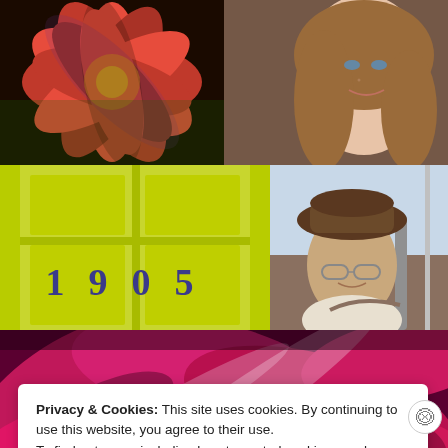[Figure (photo): Close-up photo of a red dahlia flower with vivid petals, top-left quadrant]
[Figure (photo): Portrait photo of a woman with brown hair and blue eyes, smiling, top-right quadrant]
[Figure (photo): Photo of a bright yellow-green door with house number 1905 in metal numerals, middle-left]
[Figure (photo): Photo of an elderly man wearing a brown hat and glasses, sitting outdoors, middle-right]
[Figure (photo): Close-up photo of pink/magenta flower petals filling the frame, bottom strip]
Privacy & Cookies: This site uses cookies. By continuing to use this website, you agree to their use.
To find out more, including how to control cookies, see here: Cookie Policy
Close and accept